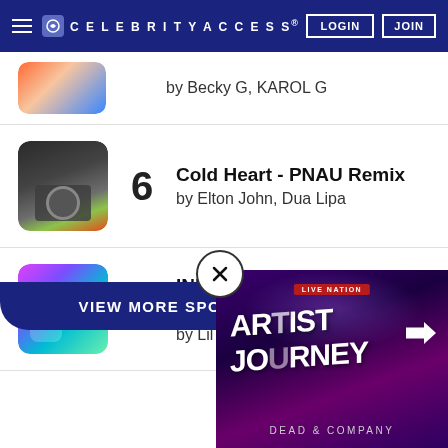CELEBRITYACCESS. LOGIN JOIN
5 by Becky G, KAROL G
6 Cold Heart - PNAU Remix by Elton John, Dua Lipa
7 INDUSTRY BABY (feat. Jack Harlow) by Lil Nas X
VIEW MORE SPOTIFY CHARTS
[Figure (screenshot): Live Nation Artist Journey Dead & Company advertisement overlay]